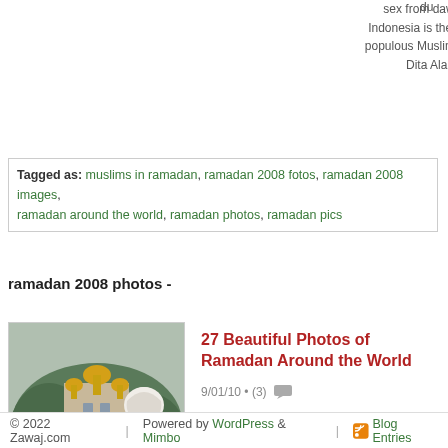sex from dawn to dusk. Indonesia is the world's most populous Muslim country. AP / Dita Alangkara
Tagged as: muslims in ramadan, ramadan 2008 fotos, ramadan 2008 images, ramadan around the world, ramadan photos, ramadan pics
ramadan 2008 photos -
[Figure (photo): Person wearing white hijab with golden-domed church in background]
27 Beautiful Photos of Ramadan Around the World
9/01/10 • (3)
© 2022 Zawaj.com | Powered by WordPress & Mimbo | Blog Entries